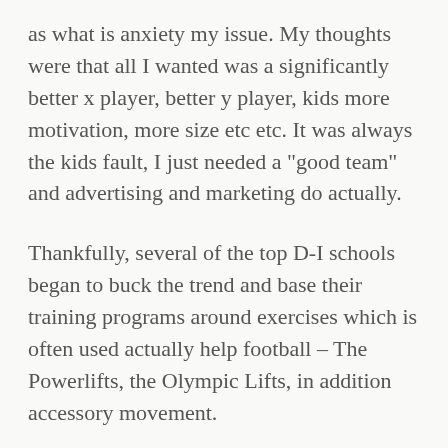as what is anxiety my issue. My thoughts were that all I wanted was a significantly better x player, better y player, kids more motivation, more size etc etc. It was always the kids fault, I just needed a "good team" and advertising and marketing do actually.
Thankfully, several of the top D-I schools began to buck the trend and base their training programs around exercises which is often used actually help football – The Powerlifts, the Olympic Lifts, in addition accessory movement.
You supply the power to sync your league using website, as well as will tell you who the top available players to add are within your